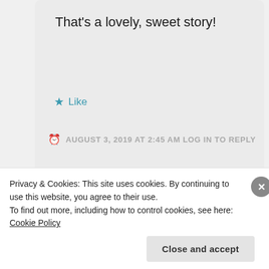That's a lovely, sweet story!
★ Like
AUGUST 3, 2019 AT 2:45 AM LOG IN TO REPLY
Aniana
Privacy & Cookies: This site uses cookies. By continuing to use this website, you agree to their use.
To find out more, including how to control cookies, see here: Cookie Policy
Close and accept